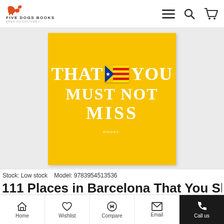FIVE DOGS BOOKS — FREE NZ DELIVERY
[Figure (photo): Book cover: yellow background with white bold serif text reading 'THAT [Catalan flag emoji] YOU MUST NOT MISS' and publisher logo 'emons:' at bottom]
Stock: Low stock   Model: 9783954513536
111 Places in Barcelona That You Sho...
Why are half of the bars in Barcelona called "Frankfurt"? Why is
Home  Wishlist  Compare  Email  Call us